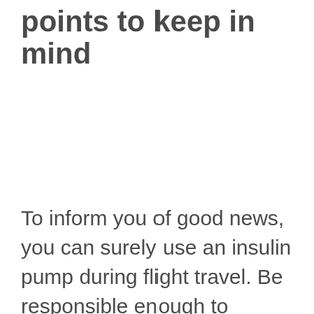points to keep in mind
To inform you of good news, you can surely use an insulin pump during flight travel. Be responsible enough to disconnect it when the flight is about to